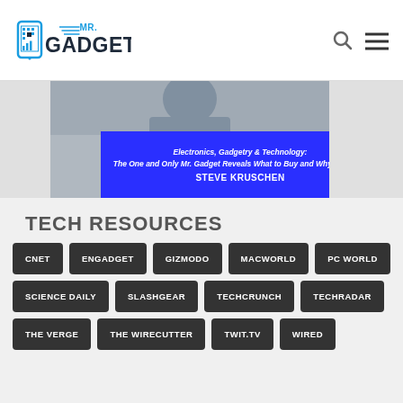MR. GADGET
[Figure (screenshot): Book cover for 'Electronics, Gadgetry & Technology: The One and Only Mr. Gadget Reveals What to Buy and Why to Buy It!' by Steve Kruschen, shown with a blue overlay banner]
TECH RESOURCES
CNET
ENGADGET
GIZMODO
MACWORLD
PC WORLD
SCIENCE DAILY
SLASHGEAR
TECHCRUNCH
TECHRADAR
THE VERGE
THE WIRECUTTER
TWIT.TV
WIRED